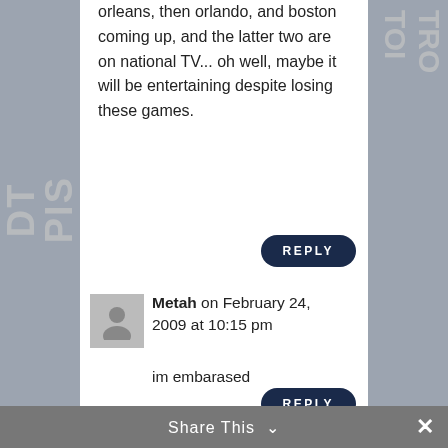orleans, then orlando, and boston coming up, and the latter two are on national TV... oh well, maybe it will be entertaining despite losing these games.
REPLY
Metah on February 24, 2009 at 10:15 pm
im embarased
REPLY
Share This ∨  ×